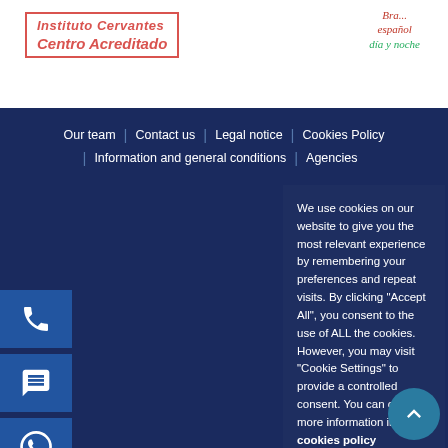[Figure (logo): Instituto Cervantes Centro Acreditado logo with red italic text and border]
[Figure (logo): Handwritten style logo with text in red and green: 'español día y noche']
Our team | Contact us | Legal notice | Cookies Policy | Information and general conditions | Agencies
We use cookies on our website to give you the most relevant experience by remembering your preferences and repeat visits. By clicking "Accept All", you consent to the use of ALL the cookies. However, you may visit "Cookie Settings" to provide a controlled consent. You can obtain more information in our cookies policy .
Settings  Accept all